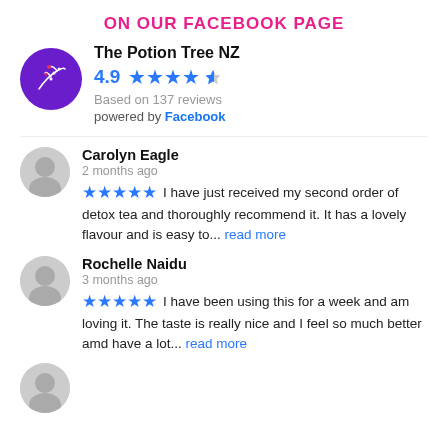ON OUR FACEBOOK PAGE
[Figure (infographic): The Potion Tree NZ Facebook page rating widget showing logo, 4.9 star rating with 5 stars (last half), based on 137 reviews, powered by Facebook]
Carolyn Eagle
2 months ago
★★★★★ I have just received my second order of detox tea and thoroughly recommend it. It has a lovely flavour and is easy to... read more
Rochelle Naidu
3 months ago
★★★★★ I have been using this for a week and am loving it.  The taste is really nice and I feel so much better amd have a lot... read more